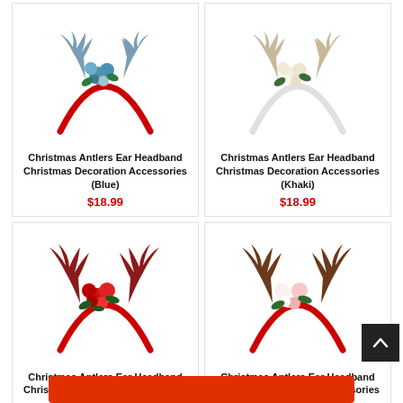[Figure (illustration): Christmas antler headband with blue/teal flowers on red headband]
Christmas Antlers Ear Headband Christmas Decoration Accessories (Blue)
$18.99
[Figure (illustration): Christmas antler headband with cream/white flowers on white headband]
Christmas Antlers Ear Headband Christmas Decoration Accessories (Khaki)
$18.99
[Figure (illustration): Christmas antler headband with red flowers on red headband]
Christmas Antlers Ear Headband Christmas Decoration Accessories (Red)
$18.99
[Figure (illustration): Christmas antler headband with white and pink flowers on red headband]
Christmas Antlers Ear Headband Christmas Decoration Accessories (White)
$18.99